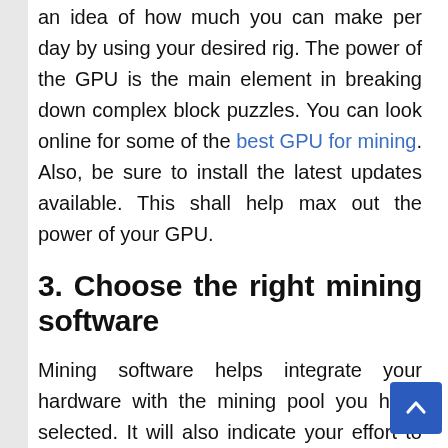an idea of how much you can make per day by using your desired rig. The power of the GPU is the main element in breaking down complex block puzzles. You can look online for some of the best GPU for mining. Also, be sure to install the latest updates available. This shall help max out the power of your GPU.
3. Choose the right mining software
Mining software helps integrate your hardware with the mining pool you have selected. It will also indicate your effort to the mining pool in the form of a hash rate. This will decide your rewards when a block is solved. The software shall also help integrate your payouts from the